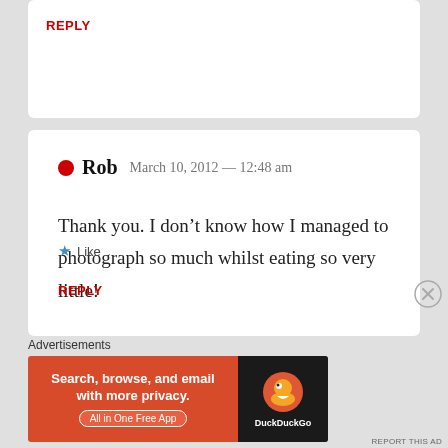REPLY
Rob  March 10, 2012 — 12:48 am
Thank you. I don't know how I managed to photograph so much whilst eating so very little!
★ Like
REPLY
Advertisements
[Figure (other): DuckDuckGo advertisement banner: 'Search, browse, and email with more privacy. All in One Free App' with DuckDuckGo logo on dark background]